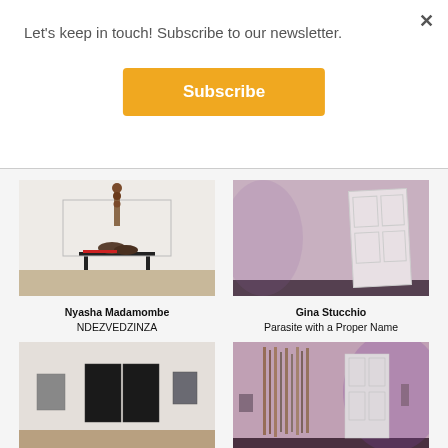Let's keep in touch! Subscribe to our newsletter.
Subscribe
[Figure (photo): Gallery installation photo showing a tall sculptural object on a pedestal inside a glass vitrine, with smaller objects at the base, against a white wall.]
Nyasha Madamombe NDEZVEDZINZA
[Figure (photo): Gallery installation photo showing a white door leaning against a mauve/pink wall.]
Gina Stucchio Parasite with a Proper Name
[Figure (photo): Gallery installation photo showing several dark rectangular paintings hung on a white wall with wooden floor.]
Alissa Walls The Space Race
[Figure (photo): Gallery installation photo showing hanging textile or woven work next to a white door in a mauve-lit gallery space.]
Gina Stucchio